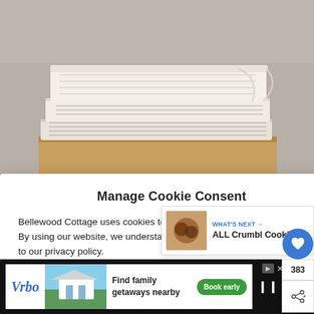[Figure (photo): Stacked white/cream folded towels or linens on a wooden surface, against a light gray background]
Manage Cookie Consent
Bellewood Cottage uses cookies to optimize our website and our service. By using our website, we understand that you accept their use and agree to our privacy policy.
ACCEPT
Privacy Policy   Privacy Policy
[Figure (screenshot): WHAT'S NEXT → ALL Crumbl Cookie... thumbnail with cookie image]
[Figure (screenshot): Vrbo advertisement banner - Find family getaways nearby, Book early button]